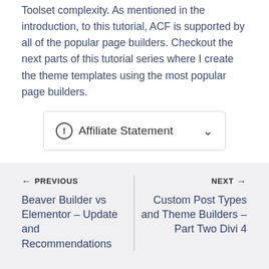Toolset complexity. As mentioned in the introduction, to this tutorial, ACF is supported by all of the popular page builders. Checkout the next parts of this tutorial series where I create the theme templates using the most popular page builders.
ⓘ Affiliate Statement ∨
← PREVIOUS
Beaver Builder vs Elementor – Update and Recommendations
NEXT →
Custom Post Types and Theme Builders – Part Two Divi 4